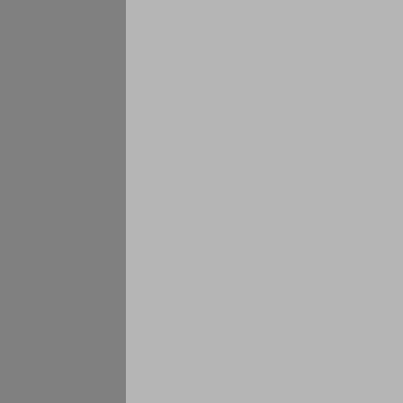[Figure (other): Two-tone grey sidebar: dark grey left strip and lighter grey main column]
these warnings defy common sense and does not take them seriously may not appreciate that it may have a basis in legislation. Yet we, as lawyers, have a right to comment on the unintended consequences of even the best intentions. After all, it is one thing to list the ingredients of a product, but we believe it is quite another to require a warning on the product's packaging warning of itself – not some component of it. If you buy peanuts, which are in a jar that they are, in fact, peanuts – would warn that the package of peanuts contains peanuts.

On a side note, I must say that I know allergens more than most, having had my own anaphylactic reaction to fire ants in a hot tub at a resort in South Carolina peanut allergy. Upon entering the tub and experiencing a burning all over my body, fire ants had trailed down the side and ants just several feet away, and they had gotten into the water. My